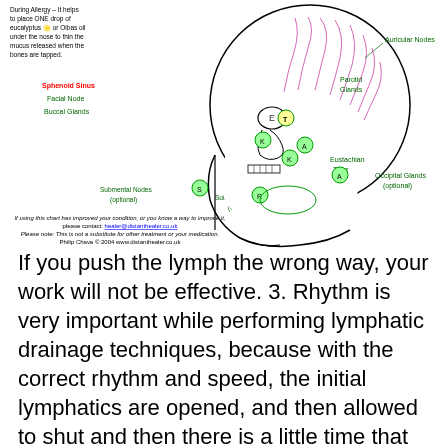[Figure (illustration): Anatomical diagram of the human head showing lymph nodes and glands: Auricular Nodes, Parotid Glands, Sphenoid Sinus (red), Facial Node, Buccal Glands, Eustachian Tube, Occipital Glands (optional), Submental Nodes (optional), Submandibular Nodes (optional). Labeled with colored circles and letters. Includes text about eucalyptus/Olbas oil and contact information: healer@distanthealer.co.uk. Philip Chave (C) 2004 www.distanthealer.co.uk]
If you push the lymph the wrong way, your work will not be effective. 3. Rhythm is very important while performing lymphatic drainage techniques, because with the correct rhythm and speed, the initial lymphatics are opened, and then allowed to shut and then there is a little time that is given for that lymph to get sucked down